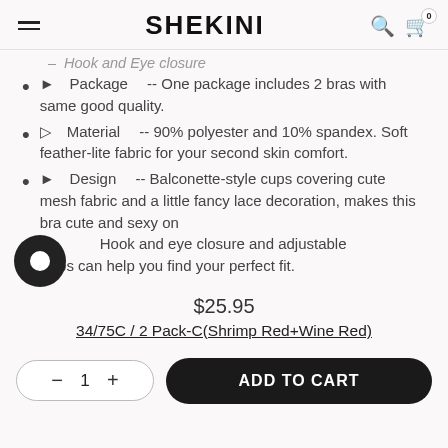SHEKINI
Hook and Eye closure
►【Package】-- One package includes 2 bras with same good quality.
▷【Material】-- 90% polyester and 10% spandex. Soft feather-lite fabric for your second skin comfort.
►【Design】-- Balconette-style cups covering cute mesh fabric and a little fancy lace decoration, makes this bra cute and sexy on Hook and eye closure and adjustable aps can help you find your perfect fit.
$25.95
34/75C / 2 Pack-C(Shrimp Red+Wine Red)
− 1 + ADD TO CART